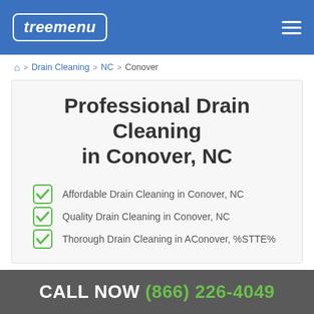treemenu
Home > Drain Cleaning > NC > Conover
Professional Drain Cleaning in Conover, NC
Affordable Drain Cleaning in Conover, NC
Quality Drain Cleaning in Conover, NC
Thorough Drain Cleaning in AConover, %STTE%
CALL NOW (866) 226-4049